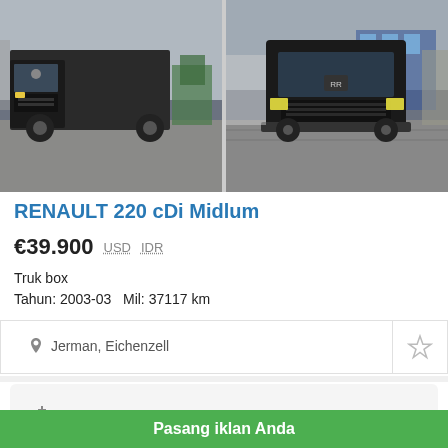[Figure (photo): Two photos of a Renault 220 cDi Midlum box truck. Left photo shows a side/front angle view of the dark-colored truck in a yard with other trucks visible behind it. Right photo shows a front-facing view of the same truck.]
RENAULT 220 cDi Midlum
€39.900   USD   IDR
Truk box
Tahun: 2003-03   Mil: 37117 km
Jerman, Eichenzell
Menjual mesin atau kendaraan?
Anda dapat melakukannya dengan kami!
Pasang iklan Anda